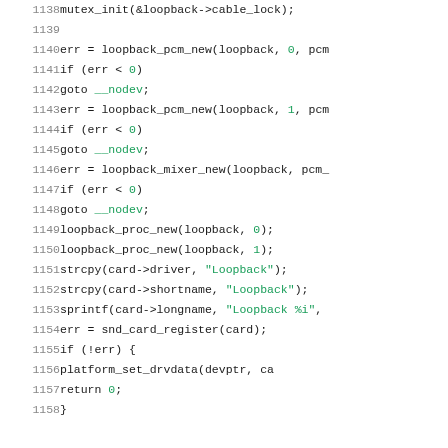Source code listing lines 1138-1158, showing C code with mutex_init, loopback_pcm_new, loopback_mixer_new, loopback_proc_new, strcpy, sprintf, snd_card_register, platform_set_drvdata calls.